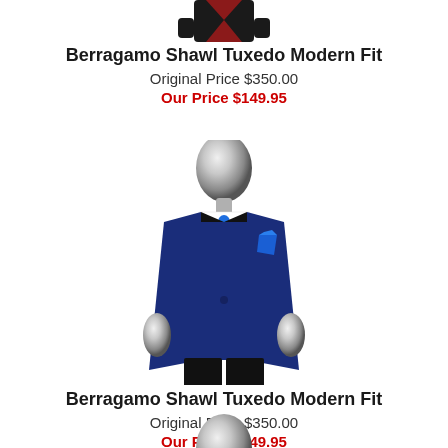[Figure (photo): Top portion of a mannequin wearing a dark tuxedo with dark red/burgundy jacket, partially cut off at top of page]
Berragamo Shawl Tuxedo Modern Fit
Original Price $350.00
Our Price $149.95
[Figure (photo): Silver chrome mannequin wearing a navy blue shawl tuxedo jacket with black lapels, blue bow tie, and blue pocket square]
Berragamo Shawl Tuxedo Modern Fit
Original Price $350.00
Our Price $149.95
[Figure (photo): Top portion of silver chrome mannequin head, partially visible at bottom of page]